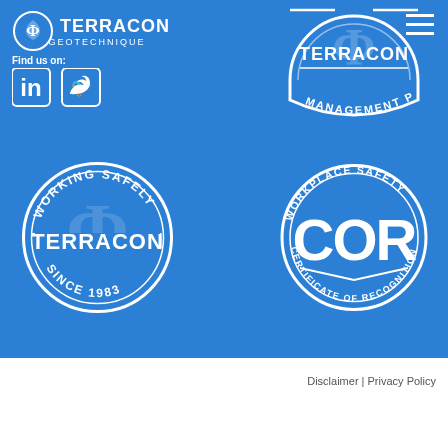[Figure (logo): Terracon Geotechnique logo in white on blue background]
[Figure (logo): Hamburger menu icon in top right]
Find us on:
[Figure (logo): LinkedIn and Twitter social media icons]
[Figure (logo): Terracon Management Plan circular badge]
[Figure (logo): Terracon Working Safely Since 1983 circular badge]
[Figure (logo): Workplace Safety COR Certificate of Recognition circular badge]
Disclaimer | Privacy Policy